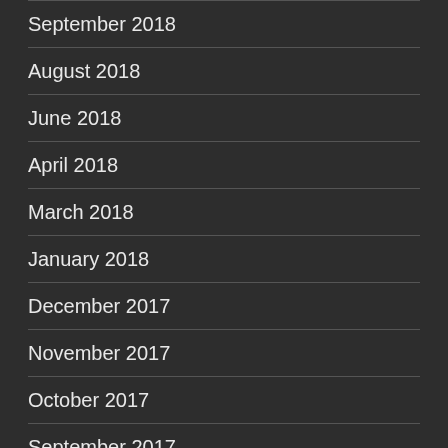September 2018
August 2018
June 2018
April 2018
March 2018
January 2018
December 2017
November 2017
October 2017
September 2017
July 2017